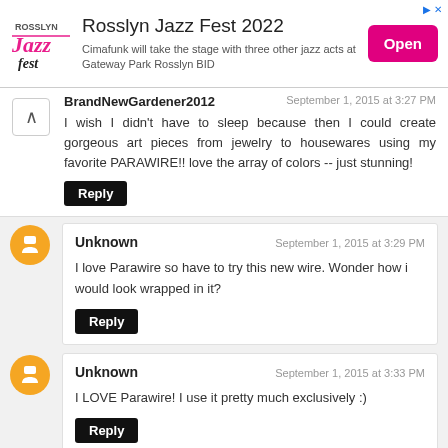[Figure (screenshot): Rosslyn Jazz Fest 2022 advertisement banner with logo, description text, and Open button]
BrandNewGardener2012 · September 1, 2015 at 3:27 PM · I wish I didn't have to sleep because then I could create gorgeous art pieces from jewelry to housewares using my favorite PARAWIRE!! love the array of colors -- just stunning!
Unknown · September 1, 2015 at 3:29 PM · I love Parawire so have to try this new wire. Wonder how i would look wrapped in it?
Unknown · September 1, 2015 at 3:33 PM · I LOVE Parawire! I use it pretty much exclusively :)